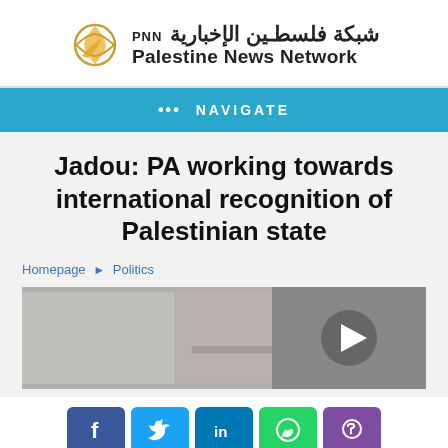[Figure (logo): Palestine News Network logo with Arabic text شبكة فلسطين الإخبارية and English text Palestine News Network with PNN and globe icon]
••• NAVIGATE
Jadou: PA working towards international recognition of Palestinian state
Homepage ▶ Politics
[Figure (screenshot): Video thumbnail showing a person at a podium/desk with play button overlay on dark right side]
[Figure (infographic): Social media share buttons: Facebook, Twitter, LinkedIn, WhatsApp, Viber]